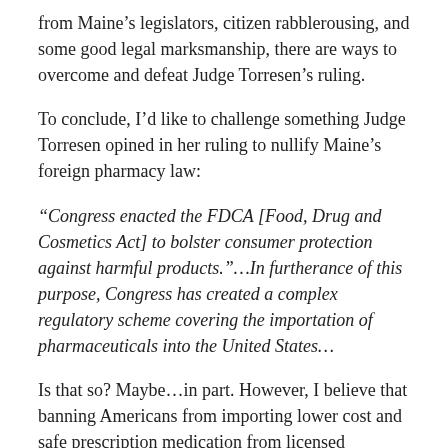from Maine's legislators, citizen rabblerousing, and some good legal marksmanship, there are ways to overcome and defeat Judge Torresen's ruling.
To conclude, I'd like to challenge something Judge Torresen opined in her ruling to nullify Maine's foreign pharmacy law:
“Congress enacted the FDCA [Food, Drug and Cosmetics Act] to bolster consumer protection against harmful products.”…In furtherance of this purpose, Congress has created a complex regulatory scheme covering the importation of pharmaceuticals into the United States…
Is that so? Maybe…in part. However, I believe that banning Americans from importing lower cost and safe prescription medication from licensed pharmacies for their own use does nothing to bolster consumer protection against harmful products but quite a lot to bolster protection of big drug company